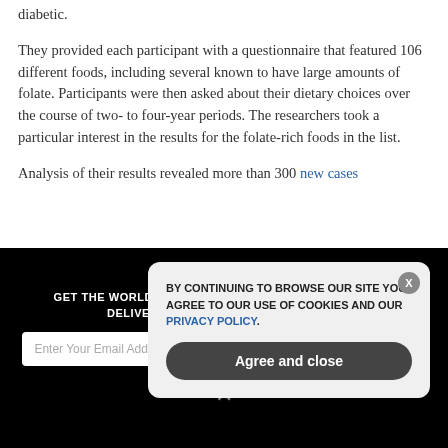diabetic.
They provided each participant with a questionnaire that featured 106 different foods, including several known to have large amounts of folate. Participants were then asked about their dietary choices over the course of two- to four-year periods. The researchers took a particular interest in the results for the folate-rich foods in the list.
Analysis of their results revealed more than 300 new cases
GET THE WORLD'S BEST NATURAL HEALTH NEWSLETTER DELIVERED STRAIGHT TO YOUR INBOX.
Enter Your Email Address
SUBSCRIBE
BY CONTINUING TO BROWSE OUR SITE YOU AGREE TO OUR USE OF COOKIES AND OUR PRIVACY POLICY.
Agree and close